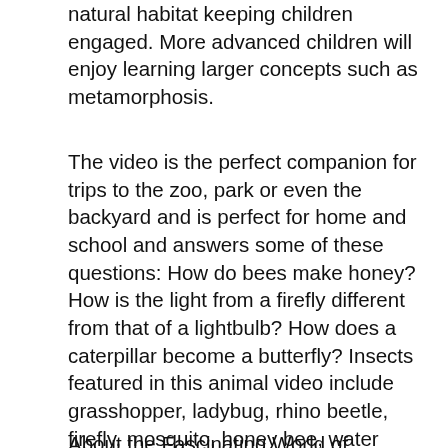natural habitat keeping children engaged. More advanced children will enjoy learning larger concepts such as metamorphosis.
The video is the perfect companion for trips to the zoo, park or even the backyard and is perfect for home and school and answers some of these questions: How do bees make honey? How is the light from a firefly different from that of a lightbulb? How does a caterpillar become a butterfly? Insects featured in this animal video include grasshopper, ladybug, rhino beetle, firefly, mosquito, honey bee, water strider, ant, praying mantis, dragonfly, and butterfly. A multi-section review reinforces information presented earlier. The beginner level reviews show insect flash cards and parts of an insect. The more advanced levels quiz children on insect facts and broader scientific terms related to insects.
About the Fascinating World of Mammals: